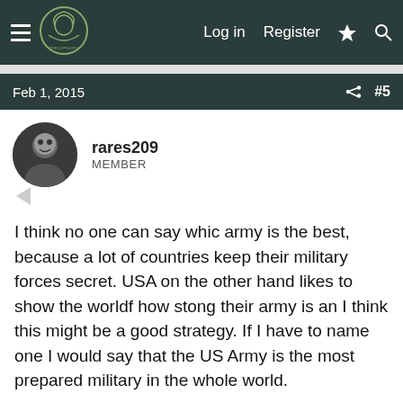Log in  Register
Feb 1, 2015  #5
rares209
MEMBER
I think no one can say whic army is the best, because a lot of countries keep their military forces secret. USA on the other hand likes to show the worldf how stong their army is an I think this might be a good strategy. If I have to name one I would say that the US Army is the most prepared military in the whole world.
Feb 5, 2015  #6
Shimus
MEMBER